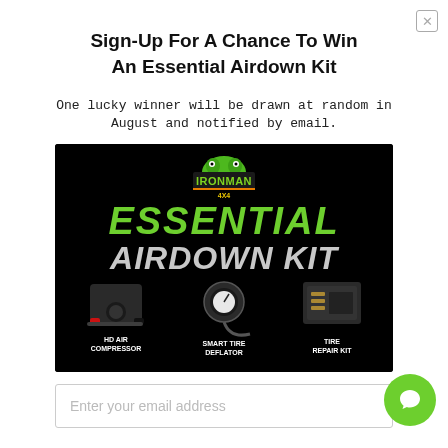Sign-Up For A Chance To Win An Essential Airdown Kit
One lucky winner will be drawn at random in August and notified by email.
[Figure (illustration): Ironman 4x4 Essential Airdown Kit product advertisement on black background, showing logo, large green 'ESSENTIAL AIRDOWN KIT' text, and three products: HD Air Compressor, Smart Tire Deflator, and Tire Repair Kit]
Enter your email address